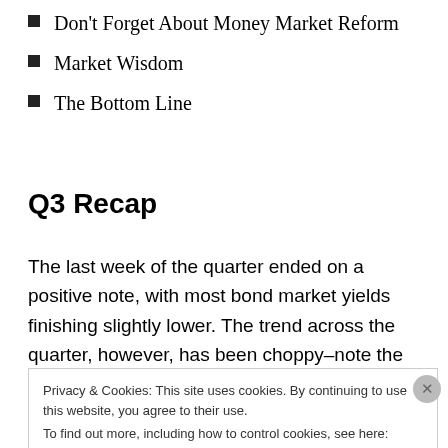Don't Forget About Money Market Reform
Market Wisdom
The Bottom Line
Q3 Recap
The last week of the quarter ended on a positive note, with most bond market yields finishing slightly lower. The trend across the quarter, however, has been choppy–note the
Privacy & Cookies: This site uses cookies. By continuing to use this website, you agree to their use.
To find out more, including how to control cookies, see here: Cookie Policy